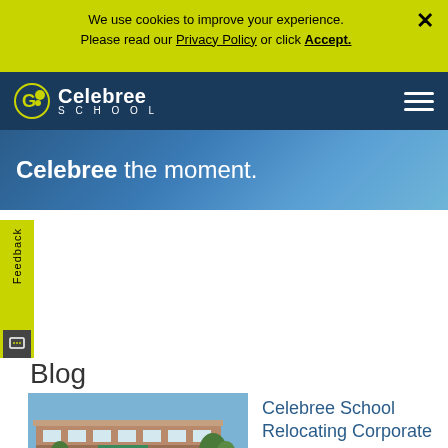We use cookies to improve your experience. Please read our Privacy Policy or click Accept.
[Figure (screenshot): Celebree School logo in white on dark navy background with hamburger menu icon]
Celebree the moment.
Feedback
Blog
[Figure (photo): Exterior photo of a brick commercial building with parking lot and landscaping under blue sky]
Celebree School Relocating Corporate Headquarters to White Marsh, MD